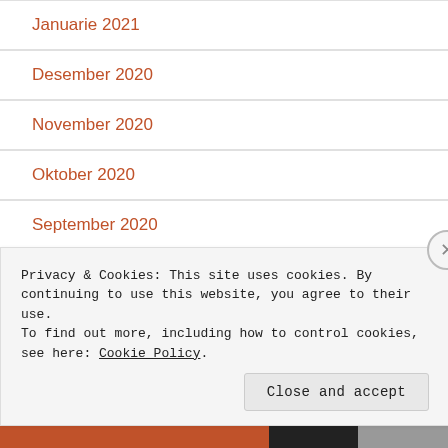Januarie 2021
Desember 2020
November 2020
Oktober 2020
September 2020
Augustus 2020
Julie 2020
Privacy & Cookies: This site uses cookies. By continuing to use this website, you agree to their use.
To find out more, including how to control cookies, see here: Cookie Policy